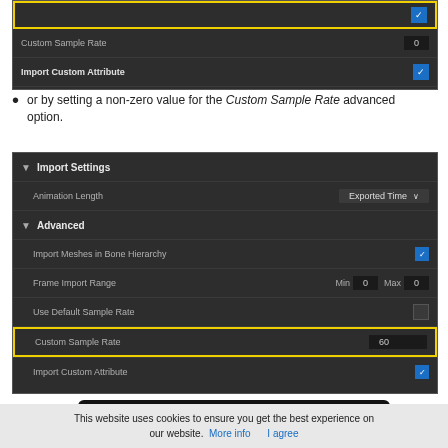[Figure (screenshot): Unreal Engine Import Settings UI panel showing Custom Sample Rate field with value 0 and Import Custom Attribute checkbox checked, with top row highlighted in yellow]
or by setting a non-zero value for the Custom Sample Rate advanced option.
[Figure (screenshot): Unreal Engine Import Settings panel showing Animation Length: Exported Time, Advanced section with Import Meshes in Bone Hierarchy checked, Frame Import Range Min 0 Max 0, Use Default Sample Rate unchecked, Custom Sample Rate: 60 (highlighted in yellow), Import Custom Attribute checked]
[Figure (logo): Download on the UE Marketplace button with Unreal Engine logo]
This website uses cookies to ensure you get the best experience on our website.  More info    I agree